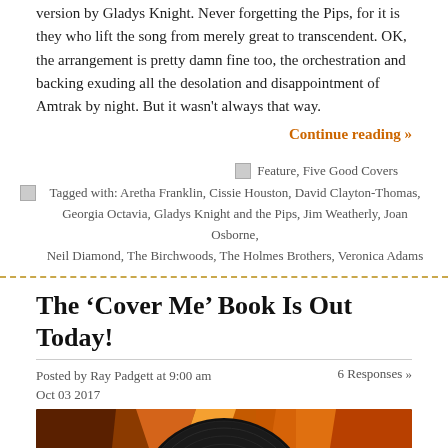version by Gladys Knight. Never forgetting the Pips, for it is they who lift the song from merely great to transcendent. OK, the arrangement is pretty damn fine too, the orchestration and backing exuding all the desolation and disappointment of Amtrak by night. But it wasn't always that way.
Continue reading »
Feature, Five Good Covers
Tagged with: Aretha Franklin, Cissie Houston, David Clayton-Thomas, Georgia Octavia, Gladys Knight and the Pips, Jim Weatherly, Joan Osborne, Neil Diamond, The Birchwoods, The Holmes Brothers, Veronica Adams
The 'Cover Me' Book Is Out Today!
Posted by Ray Padgett at 9:00 am
Oct 03 2017
6 Responses »
[Figure (photo): A vinyl record with colorful geometric album artwork visible beneath it, featuring warm orange, red, yellow tones on a dark wooden surface]